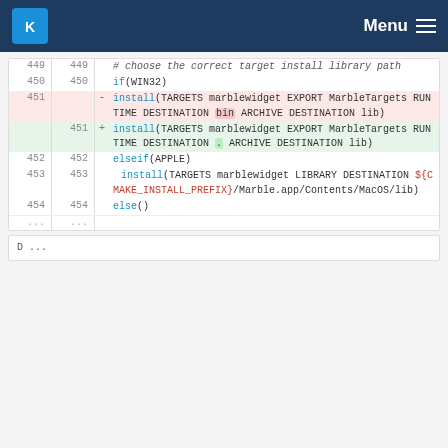KDE Menu
[Figure (screenshot): Code diff view showing CMakeLists changes for marble widget install targets, lines 449-454]
...